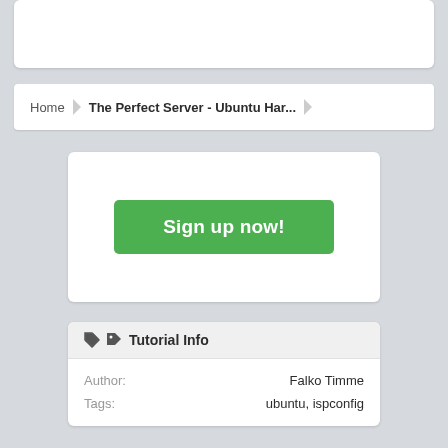[Figure (screenshot): Partial white card cropped at top of page]
Home > The Perfect Server - Ubuntu Har...
Sign up now!
Tutorial Info
Author: Falko Timme
Tags: ubuntu, ispconfig
VMware image download